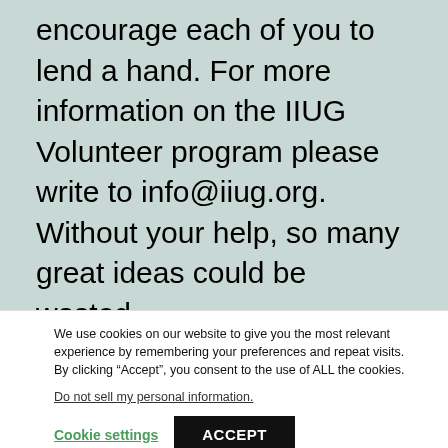encourage each of you to lend a hand. For more information on the IIUG Volunteer program please write to info@iiug.org. Without your help, so many great ideas could be wasted.
The new board coming in for 2004 shows the same eagerness and resolve that the boards
We use cookies on our website to give you the most relevant experience by remembering your preferences and repeat visits. By clicking “Accept”, you consent to the use of ALL the cookies.
Do not sell my personal information.
Cookie settings
ACCEPT